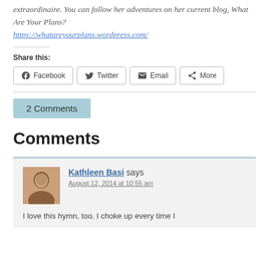extraordinaire. You can follow her adventures on her current blog, What Are Your Plans? https://whatareyourplans.wordpress.com/
Share this:
Facebook | Twitter | Email | More
2 Comments
Comments
Kathleen Basi says
August 12, 2014 at 10:55 am
I love this hymn, too. I choke up every time I